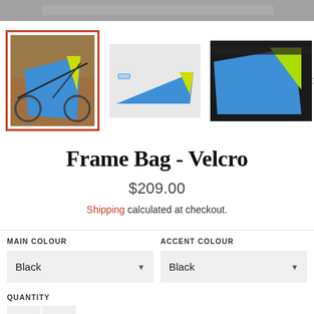[Figure (photo): Top image strip showing a bicycle, partially cropped]
[Figure (photo): Three product thumbnail images of a Frame Bag Velcro, first selected with orange border; second shows flat triangular bag blue/yellow; third shows close-up of blue/green bag. Navigation arrow on right.]
Frame Bag - Velcro
$209.00
Shipping calculated at checkout.
MAIN COLOUR
Black
ACCENT COLOUR
Black
QUANTITY